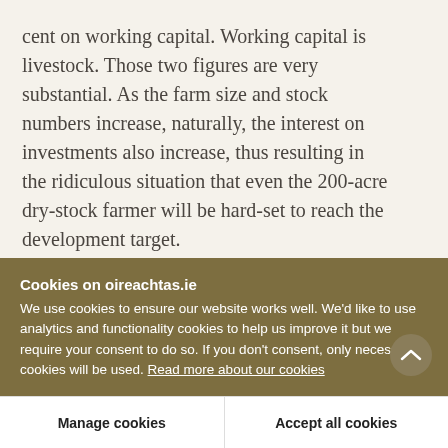cent on working capital. Working capital is livestock. Those two figures are very substantial. As the farm size and stock numbers increase, naturally, the interest on investments also increase, thus resulting in the ridiculous situation that even the 200-acre dry-stock farmer will be hard-set to reach the development target.
Another aspect of the scheme which, to say the least, is very difficult for me to understand is the...
Cookies on oireachtas.ie
We use cookies to ensure our website works well. We'd like to use analytics and functionality cookies to help us improve it but we require your consent to do so. If you don't consent, only necessary cookies will be used. Read more about our cookies
Manage cookies
Accept all cookies